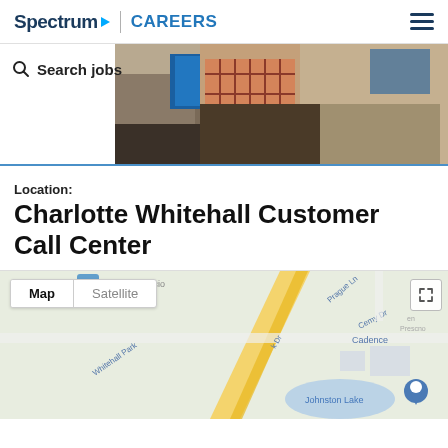Spectrum CAREERS
[Figure (screenshot): Hero image showing a person in a plaid shirt at a desk in an office environment, partially cropped. Search jobs bar visible on left.]
Search jobs
Location:
Charlotte Whitehall Customer Call Center
[Figure (map): Google Maps view showing area around Charlotte Whitehall Customer Call Center, with Map/Satellite toggle buttons, street labels including Prague Ln, Cemy Dr, Whitehall Park, Johnston Lake, and Cadence. A blue location pin is visible on the right side.]